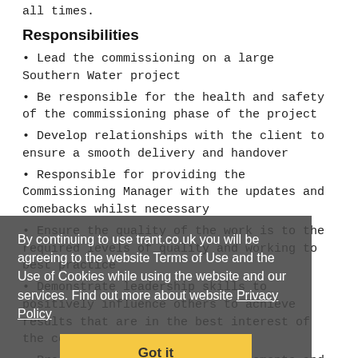all times.
Responsibilities
• Lead the commissioning on a large Southern Water project
• Be responsible for the health and safety of the commissioning phase of the project
• Develop relationships with the client to ensure a smooth delivery and handover
• Responsible for providing the Commissioning Manager with the updates and comebacks whilst necessary
• Ensure the quality of the work is to the required levels of quality and working to best practice
• Demonstrate leadership skills to positively influence others to achieve results that are in the best interest of the company
• Produce and review Method Statements and Risk Assessments for all commissioning based activities
By continuing to use trant.co.uk you will be agreeing to the website Terms of Use and the Use of Cookies while using the website and our services. Find out more about website Privacy Policy